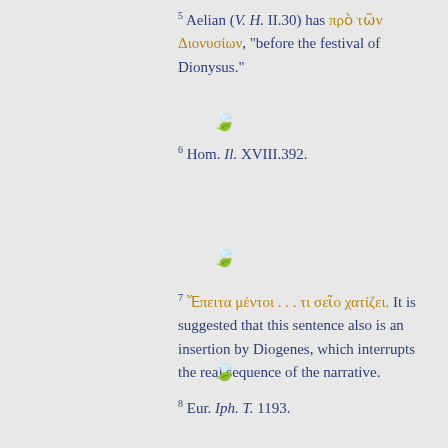5 Aelian (V. H. II.30) has πρὸ τῶν Διονυσίων, "before the festival of Dionysus."
[Figure (illustration): Green decorative leaf/heart ornament separator]
6 Hom. Il. XVIII.392.
[Figure (illustration): Green decorative leaf/heart ornament separator]
7 Ἔπειτα μέντοι . . . τι σεῖο χατίζει. It is suggested that this sentence also is an insertion by Diogenes, which interrupts the real sequence of the narrative.
[Figure (illustration): Green decorative leaf/heart ornament separator]
8 Eur. Iph. T. 1193.